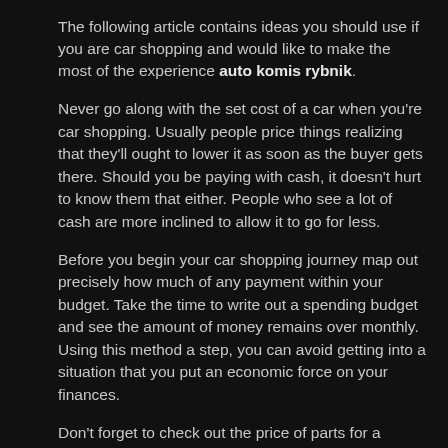The following article contains ideas you should use if you are car shopping and would like to make the most of the experience auto komis rybnik. Never go along with the set cost of a car when you're car shopping. Usually people price things realizing that they'll ought to lower it as soon as the buyer gets there. Should you be paying with cash, it doesn't hurt to know them that either. People who see a lot of cash are more inclined to allow it to go for less. Before you begin your car shopping journey map out precisely how much of any payment within your budget. Take the time to write out a spending budget and see the amount of money remains over monthly. Using this method a step, you can avoid getting into a situation that you put an economic force on your finances. Don't forget to check out the price of parts for a vehicle before you purchase it. Some cars, especially imports, cost considerably more to maintain than the others. Investigate the price of